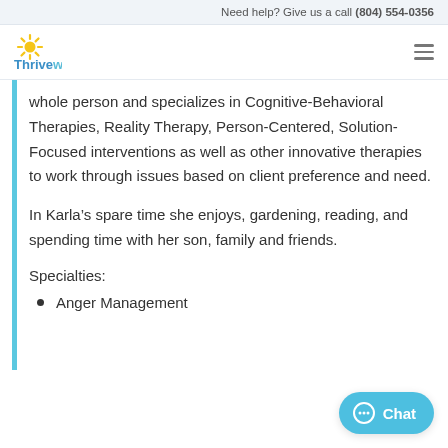Need help? Give us a call (804) 554-0356
[Figure (logo): Thriveworks logo with yellow sunburst icon and blue text]
whole person and specializes in Cognitive-Behavioral Therapies, Reality Therapy, Person-Centered, Solution-Focused interventions as well as other innovative therapies to work through issues based on client preference and need.
In Karla’s spare time she enjoys, gardening, reading, and spending time with her son, family and friends.
Specialties:
Anger Management